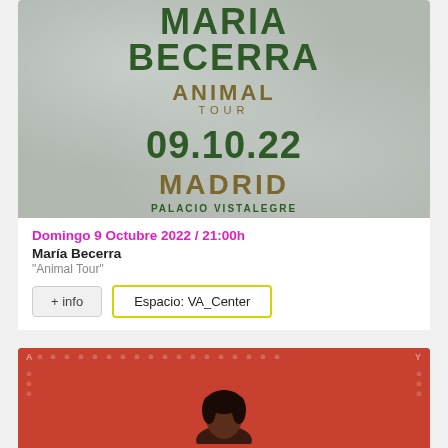[Figure (illustration): Concert poster for María Becerra Animal Tour showing artist name in dark green, tour name in gold/olive, date 09.10.22 in dark green, MADRID in gold, PALACIO VISTALEGRE in dark green, on a textured silvery/pearl background]
Domingo 9 Octubre 2022 / 21:00h
María Becerra
"Animal Tour"
+ info
Espacio: VA_Center
[Figure (illustration): Partial concert poster with red/coral background showing decorative pattern border and partial view of a person's head at the bottom center, letters A and Y visible on left and right edges respectively]